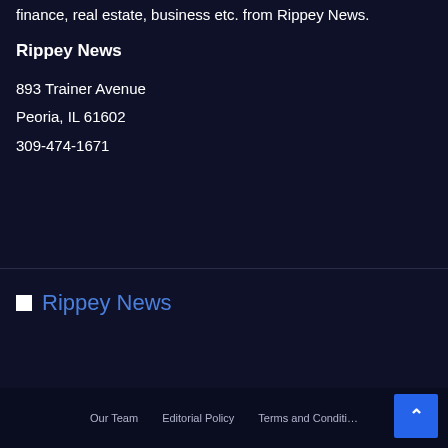finance, real estate, business etc. from Rippey News.
Rippey News
893 Trainer Avenue
Peoria, IL 61602
309-474-1671
[Figure (logo): Rippey News logo with broken image icon and blue text]
Our Team   Editorial Policy   Terms and Conditi…